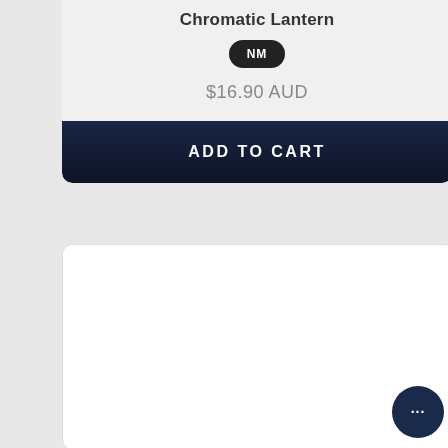Chromatic Lantern
[Figure (logo): NM badge - black oval/pill shape with white text NM]
$16.90 AUD
ADD TO CART
[Figure (other): White content card, empty]
[Figure (other): Dark blue circular chat/support button with ellipsis (...)]